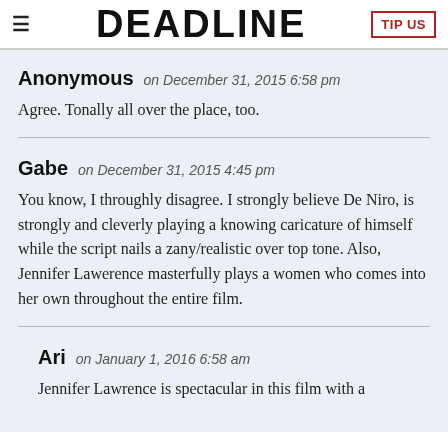DEADLINE | TIP US
Anonymous on December 31, 2015 6:58 pm

Agree. Tonally all over the place, too.
Gabe on December 31, 2015 4:45 pm

You know, I throughly disagree. I strongly believe De Niro, is strongly and cleverly playing a knowing caricature of himself while the script nails a zany/realistic over top tone. Also, Jennifer Lawerence masterfully plays a women who comes into her own throughout the entire film.
Ari on January 1, 2016 6:58 am

Jennifer Lawrence is spectacular in this film with a